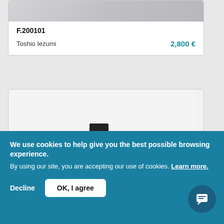F.200101
Toshio Iezumi
2,800 €
[Figure (photo): Dark sculptural ceramic or stone objects arranged together against a white background — angular trapezoidal forms in black/dark grey]
We use cookies to help give you the best possible browsing experience. By using our site, you are accepting our use of cookies. Learn more.
Decline
OK, I agree